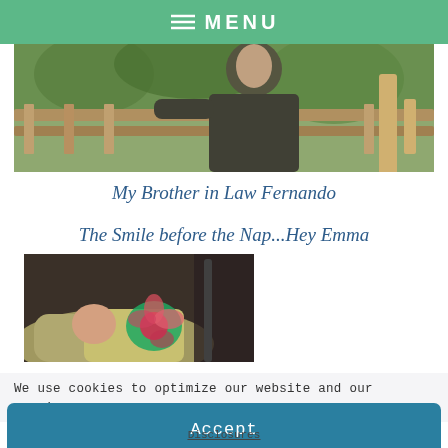≡ MENU
[Figure (photo): Photo of a man (brother in law Fernando) outdoors near a wooden fence with plants in background]
My Brother in Law Fernando
The Smile before the Nap...Hey Emma
[Figure (photo): Close-up photo of a baby (Emma) in a seat with a colorful floral blanket]
We use cookies to optimize our website and our service.
Accept
Disclosures